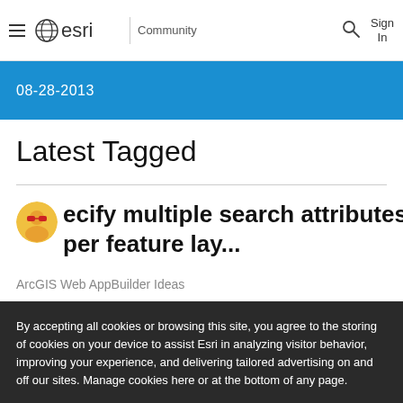esri | Community
08-28-2013
Latest Tagged
Specify multiple search attributes per feature lay...
ArcGIS Web AppBuilder Ideas
By accepting all cookies or browsing this site, you agree to the storing of cookies on your device to assist Esri in analyzing visitor behavior, improving your experience, and delivering tailored advertising on and off our sites. Manage cookies here or at the bottom of any page.